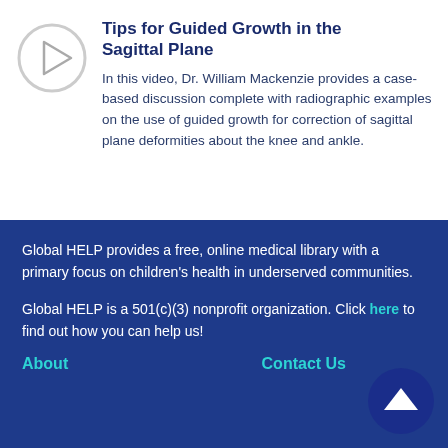[Figure (other): Circular play button icon with a triangle pointing right, gray outline]
Tips for Guided Growth in the Sagittal Plane
In this video, Dr. William Mackenzie provides a case-based discussion complete with radiographic examples on the use of guided growth for correction of sagittal plane deformities about the knee and ankle.
Global HELP provides a free, online medical library with a primary focus on children's health in underserved communities.
Global HELP is a 501(c)(3) nonprofit organization. Click here to find out how you can help us!
About    Contact Us